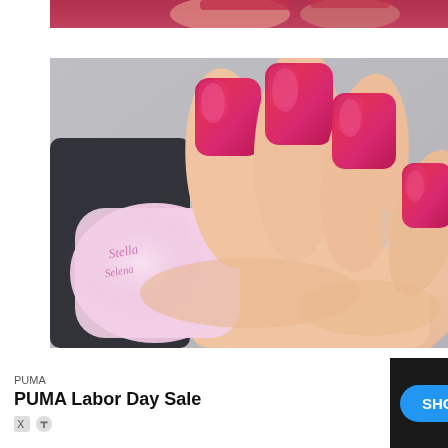[Figure (photo): Partial top image - close-up of red/pink nail polish on fingers, cropped at top of page]
[Figure (photo): Main photo: Close-up of a hand with deep pink/red holographic glitter nail polish on square-shaped nails, holding a light pink glitter nail polish bottle with cursive text. Watermark 'labnmuffin' visible on pinky area. Light grey background.]
[Figure (photo): Partial bottom image - another close-up of nail polish, partially visible at bottom of page]
PUMA
PUMA Labor Day Sale
SHOP NOW